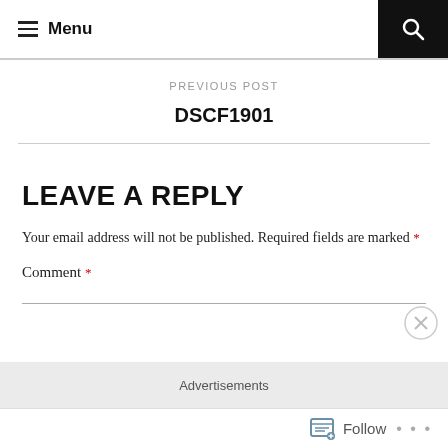Menu
PREVIOUS POST
DSCF1901
LEAVE A REPLY
Your email address will not be published. Required fields are marked *
Comment *
Advertisements
Follow ...